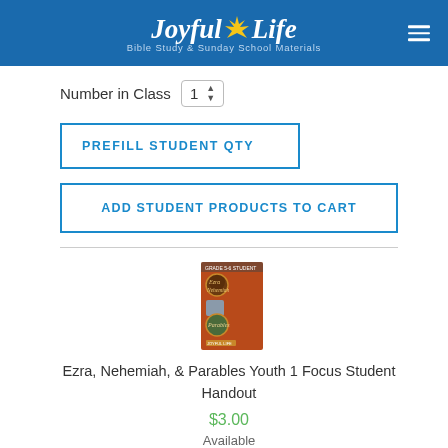[Figure (logo): Joyful Life Bible Study & Sunday School Materials logo on blue header background]
Number in Class 1
PREFILL STUDENT QTY
ADD STUDENT PRODUCTS TO CART
[Figure (photo): Book cover of Ezra, Nehemiah, & Parables Youth 1 Focus Student Handout with orange/brown design]
Ezra, Nehemiah, & Parables Youth 1 Focus Student Handout
$3.00
Available